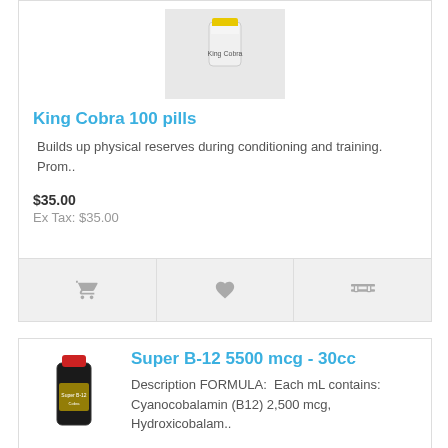[Figure (photo): Product photo of King Cobra 100 pills bottle, white cylindrical container with yellow label]
King Cobra 100 pills
Builds up physical reserves during conditioning and training. Prom..
$35.00
Ex Tax: $35.00
[Figure (photo): Product photo of Super B-12 5500 mcg 30cc dark glass bottle with red cap and yellow label]
Super B-12 5500 mcg - 30cc
Description FORMULA:  Each mL contains: Cyanocobalamin (B12) 2,500 mcg, Hydroxicobalam..